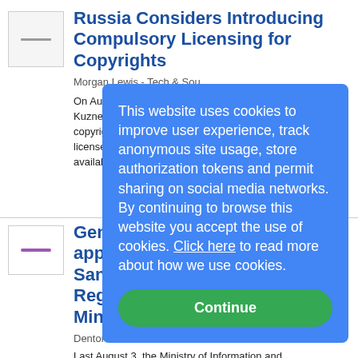[Figure (thumbnail): Small thumbnail image placeholder with a horizontal gray line]
Russia Considers Introducing Compulsory Licensing for Copyrights
Morgan Lewis - Tech & Sou…
On August 19, Russian State… Kuznetsov introduced a bill … copyrights that allows the co… licenses for content and othe… available...more
[Figure (thumbnail): Small thumbnail image placeholder with a purple horizontal bar]
General condicio… application of th… Sandbox and the… Regulatory Sanc… Ministry of...
Dentons on 8/29/2022
Last August 3, the Ministry of Information and Communications Technologies (hereinafter "MinTIC")
This website uses cookies to improve user experience, track anonymous site usage, store authorization tokens and permit sharing on social media networks. By continuing to browse this website you accept the use of cookies. Click here to read more about how we use cookies.